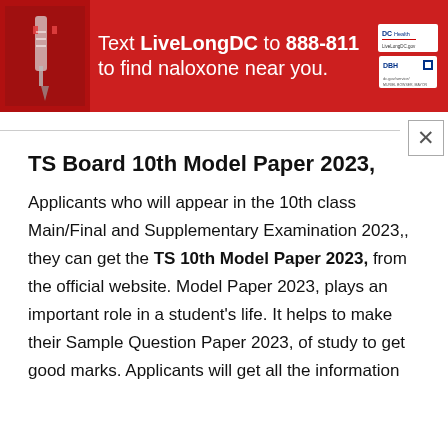[Figure (infographic): Red advertisement banner: 'Text LiveLongDC to 888-811 to find naloxone near you.' with DC Health logos and syringe image on left.]
TS Board 10th Model Paper 2023,
Applicants who will appear in the 10th class Main/Final and Supplementary Examination 2023,, they can get the TS 10th Model Paper 2023, from the official website. Model Paper 2023, plays an important role in a student's life. It helps to make their Sample Question Paper 2023, of study to get good marks. Applicants will get all the information